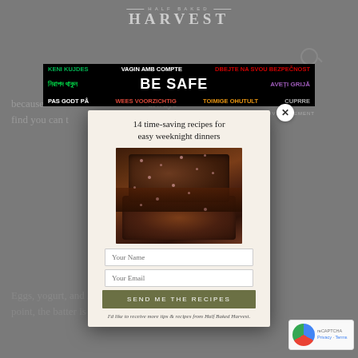HALF BAKED HARVEST
[Figure (screenshot): Advertisement banner with multilingual 'BE SAFE' safety message in colorful text on black background]
because... always find you can t...
[Figure (infographic): Email signup modal popup for Half Baked Harvest with title '14 time-saving recipes for easy weeknight dinners', photo of brownies, name and email input fields, and a 'SEND ME THE RECIPES' button]
Eggs, yogurt, and lemon juice follow. What I will note is... point, the batter is going to look like it's curdled. That's only